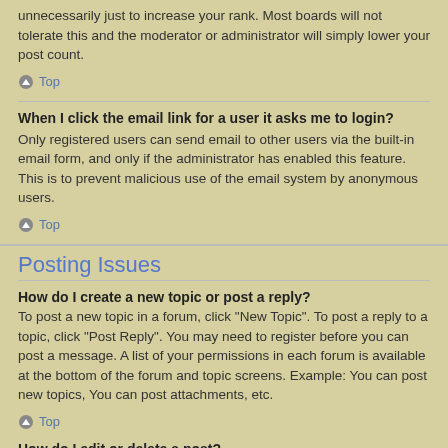unnecessarily just to increase your rank. Most boards will not tolerate this and the moderator or administrator will simply lower your post count.
Top
When I click the email link for a user it asks me to login?
Only registered users can send email to other users via the built-in email form, and only if the administrator has enabled this feature. This is to prevent malicious use of the email system by anonymous users.
Top
Posting Issues
How do I create a new topic or post a reply?
To post a new topic in a forum, click "New Topic". To post a reply to a topic, click "Post Reply". You may need to register before you can post a message. A list of your permissions in each forum is available at the bottom of the forum and topic screens. Example: You can post new topics, You can post attachments, etc.
Top
How do I edit or delete a post?
Unless you are a board administrator or moderator, you can only edit or delete your own posts. You can edit a post by clicking the edit button for the relevant post, sometimes for only a limited time after the post was made. If someone has